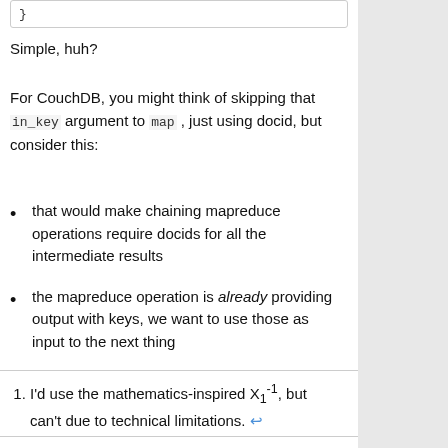}
Simple, huh?
For CouchDB, you might think of skipping that in_key argument to map , just using docid, but consider this:
that would make chaining mapreduce operations require docids for all the intermediate results
the mapreduce operation is already providing output with keys, we want to use those as input to the next thing
I'd use the mathematics-inspired X1-1, but can't due to technical limitations. ↩